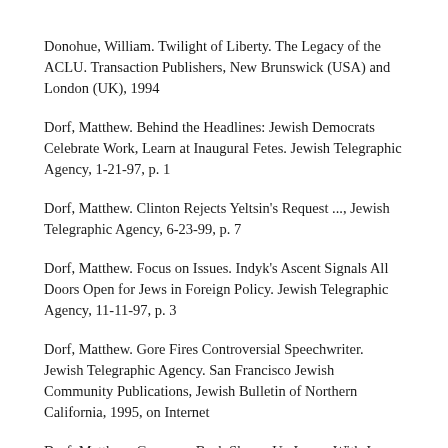Donohue, William. Twilight of Liberty. The Legacy of the ACLU. Transaction Publishers, New Brunswick (USA) and London (UK), 1994
Dorf, Matthew. Behind the Headlines: Jewish Democrats Celebrate Work, Learn at Inaugural Fetes. Jewish Telegraphic Agency, 1-21-97, p. 1
Dorf, Matthew. Clinton Rejects Yeltsin's Request ..., Jewish Telegraphic Agency, 6-23-99, p. 7
Dorf, Matthew. Focus on Issues. Indyk's Ascent Signals All Doors Open for Jews in Foreign Policy. Jewish Telegraphic Agency, 11-11-97, p. 3
Dorf, Matthew. Gore Fires Controversial Speechwriter. Jewish Telegraphic Agency. San Francisco Jewish Community Publications, Jewish Bulletin of Northern California, 1995, on Internet
Dorf, Matthew. Governor Bush Shores Up Image With Jews By Visiting Israel. Jewish Telegraphic Agency, 12-7-98